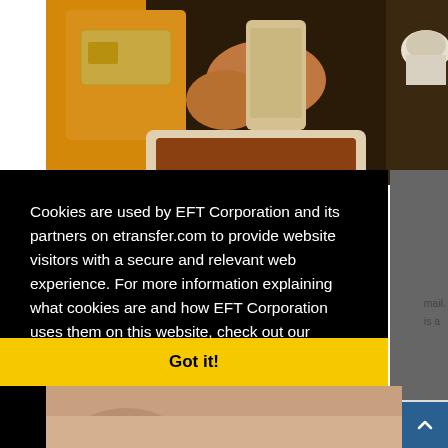[Figure (photo): Person in yellow sleeve holding a credit card and smartphone, with a tablet on a dark table surface, coffee cup in background]
Cookies are used by EFT Corporation and its partners on etransfer.com to provide website visitors with a secure and relevant web experience. For more information explaining what cookies are and how EFT Corporation uses them on this website, check out our Cookie Policy.  Learn more
Got it!